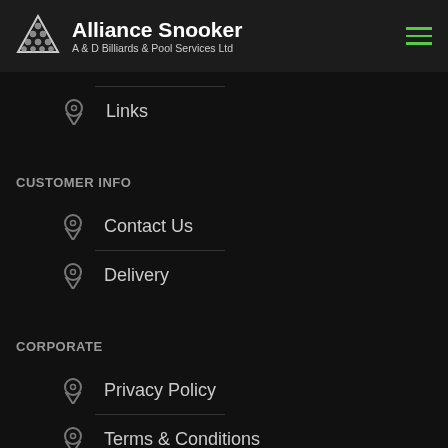Alliance Snooker — A & D Billiards & Pool Services Ltd
Links
CUSTOMER INFO
Contact Us
Delivery
CORPORATE
Privacy Policy
Terms & Conditions